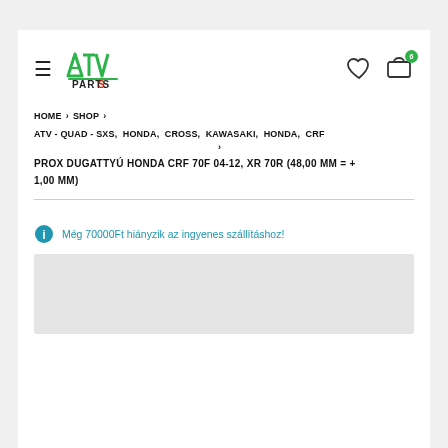[Figure (logo): ATV Parts logo with green stylized letters and red accent]
HOME > SHOP > ATV - QUAD - SXS, HONDA, CROSS, KAWASAKI, HONDA, CRF >
PROX DUGATTYÚ HONDA CRF 70F 04-12, XR 70R (48,00 MM = + 1,00 MM)
Még 70000Ft hiányzik az ingyenes szállításhoz!